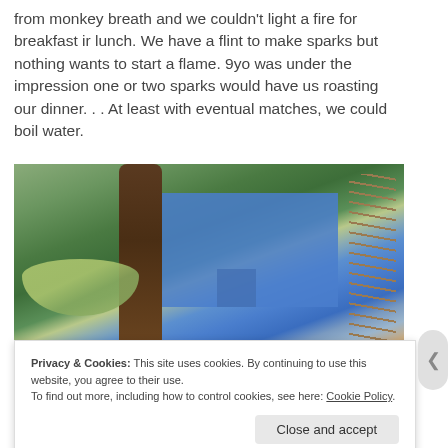from monkey breath and we couldn't light a fire for breakfast ir lunch. We have a flint to make sparks but nothing wants to start a flame. 9yo was under the impression one or two sparks would have us roasting our dinner. . . At least with eventual matches, we could boil water.
[Figure (photo): Camping scene in a forest with a hammock on the left, a large blue tarp/tent in the center, a folding camp chair, tall trees, and a structure made of branches/sticks on the right.]
Privacy & Cookies: This site uses cookies. By continuing to use this website, you agree to their use.
To find out more, including how to control cookies, see here: Cookie Policy